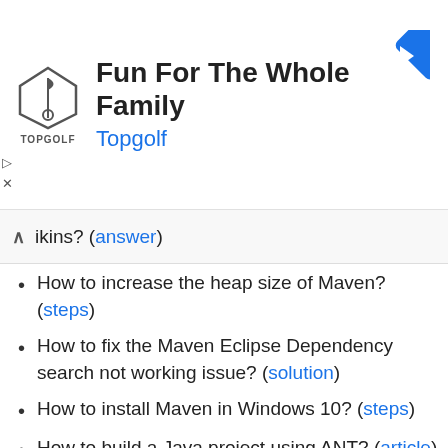[Figure (screenshot): Advertisement banner for Topgolf with logo, headline 'Fun For The Whole Family', subheading 'Topgolf', and a blue navigation arrow icon]
ikins? (answer)
How to increase the heap size of Maven? (steps)
How to fix the Maven Eclipse Dependency search not working issue? (solution)
How to install Maven in Windows 10? (steps)
How to build a Java project using ANT? (article)
How to create or modify build.xml in ANT? (tutorial)